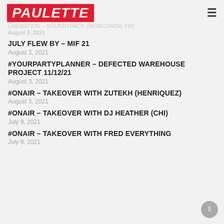PAULETTE
August 3, 2021
LIBERATION – SOUNDTRACK (WORLDWIDE FM)
JULY FLEW BY – MIF 21
August 3, 2021
#YOURPARTYPLANNER – DEFECTED WAREHOUSE PROJECT 11/12/21
August 3, 2021
#ONAIR – TAKEOVER WITH ZUTEKH (HENRIQUEZ)
August 3, 2021
#ONAIR – TAKEOVER WITH DJ HEATHER (CHI)
July 9, 2021
#ONAIR – TAKEOVER WITH FRED EVERYTHING
July 9, 2021